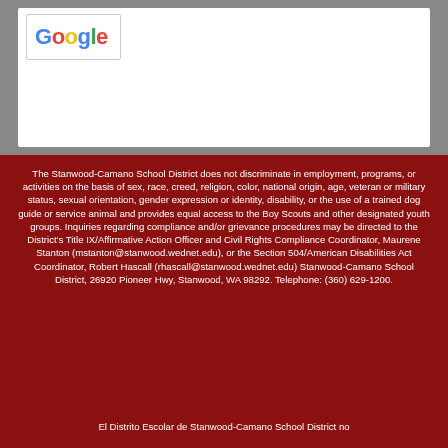[Figure (logo): Google logo inside a white search bar box on a grey background]
The Stanwood-Camano School District does not discriminate in employment, programs, or activities on the basis of sex, race, creed, religion, color, national origin, age, veteran or military status, sexual orientation, gender expression or identity, disability, or the use of a trained dog guide or service animal and provides equal access to the Boy Scouts and other designated youth groups. Inquiries regarding compliance and/or grievance procedures may be directed to the District's Title IX/Affirmative Action Officer and Civil Rights Compliance Coordinator, Maurene Stanton (mstanton@stanwood.wednet.edu), or the Section 504/American Disabilities Act Coordinator, Robert Hascall (rhascall@stanwood.wednet.edu) Stanwood-Camano School District, 26920 Pioneer Hwy, Stanwood, WA 98292. Telephone: (360) 629-1200.
El Distrito Escolar de Stanwood-Camano School District no